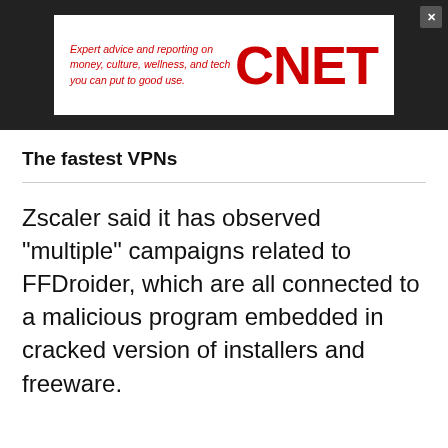[Figure (logo): CNET advertisement banner with red italic text 'Expert advice and reporting on money, culture, wellness, and tech you can put to good use.' and large red CNET logo on dark background]
The fastest VPNs
Zscaler said it has observed "multiple" campaigns related to FFDroider, which are all connected to a malicious program embedded in cracked version of installers and freeware.